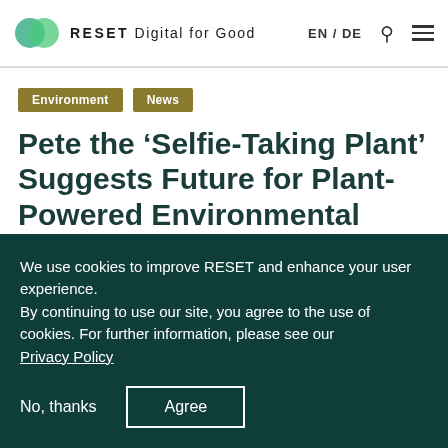RESET Digital for Good  EN / DE
Environment
News
Pete the ‘Selfie-Taking Plant’ Suggests Future for Plant-Powered Environmental Technology
We use cookies to improve RESET and enhance your user experience.
By continuing to use our site, you agree to the use of cookies. For further information, please see our Privacy Policy
No, thanks  Agree